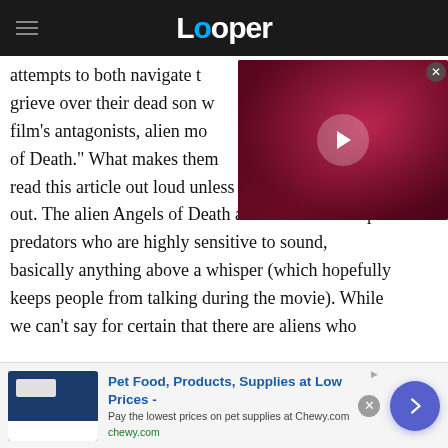Looper
attempts to both navigate the end of the world and grieve over their dead son while battling the film's antagonists, alien monsters called "Angels of Death." What makes them so deadly? Don't read this article out loud unless you want to find out. The alien Angels of Death are carnivorous super predators who are highly sensitive to sound, basically anything above a whisper (which hopefully keeps people from talking during the movie). While we can't say for certain that there are aliens who
[Figure (screenshot): Video thumbnail showing a fantasy female figure with glowing red eyes and flowing hair on a dark red cosmic background, with a play button overlay]
[Figure (screenshot): Advertisement banner for Chewy.com - Pet Food, Products, Supplies at Low Prices. Pay the lowest prices on pet supplies at Chewy.com]